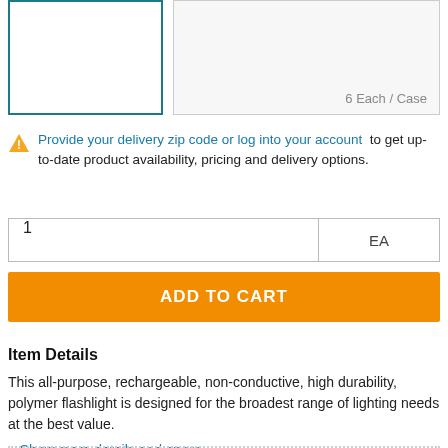[Figure (other): Two product image boxes: a teal-bordered selected image box on the left and a light gray box on the right showing '6 Each / Case']
Provide your delivery zip code or log into your account to get up-to-date product availability, pricing and delivery options.
1 EA (quantity and unit input fields)
ADD TO CART
Item Details
This all-purpose, rechargeable, non-conductive, high durability, polymer flashlight is designed for the broadest range of lighting needs at the best value.
» Show more details and specs